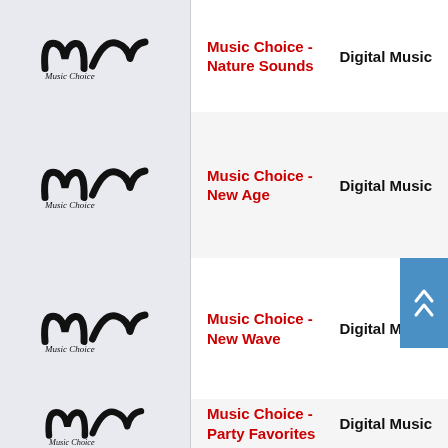[Figure (logo): Music Choice logo - stylized MC letters with Music Choice text below]
Music Choice - Nature Sounds
Digital Music
[Figure (logo): Music Choice logo - stylized MC letters with Music Choice text below]
Music Choice - New Age
Digital Music
[Figure (logo): Music Choice logo - stylized MC letters with Music Choice text below]
Music Choice - New Wave
Digital Music
[Figure (logo): Music Choice logo - stylized MC letters with Music Choice text below]
Music Choice - Party Favorites
Digital Music